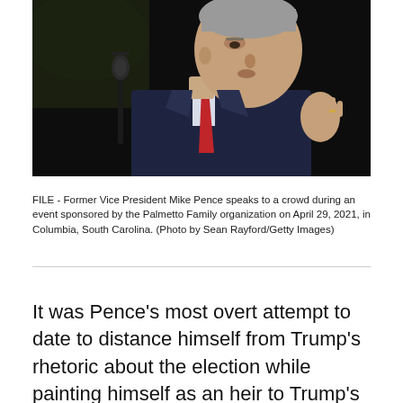[Figure (photo): Former Vice President Mike Pence speaking at a podium with a microphone, wearing a suit and red tie, against a dark background.]
FILE - Former Vice President Mike Pence speaks to a crowd during an event sponsored by the Palmetto Family organization on April 29, 2021, in Columbia, South Carolina. (Photo by Sean Rayford/Getty Images)
It was Pence’s most overt attempt to date to distance himself from Trump’s rhetoric about the election while painting himself as an heir to Trump’s mantle and key to his accomplishments in office. Trump has continued to insist that he won the November election, even though his administration’s own election experts, his attorney general, state election officials and numerous